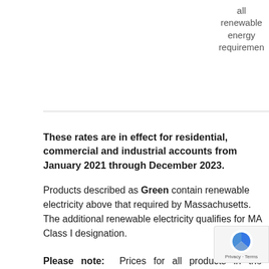| all renewable energy requirements |
These rates are in effect for residential, commercial and industrial accounts from January 2021 through December 2023. Products described as Green contain renewable electricity above that required by Massachusetts. The additional renewable electricity qualifies for MA Class I designation.
Please note: Prices for all products in the program include a $0.001/kWh administrative fee. Program prices apply only to the electricity portion of your electric bill. Delivery charges are set by your utility.